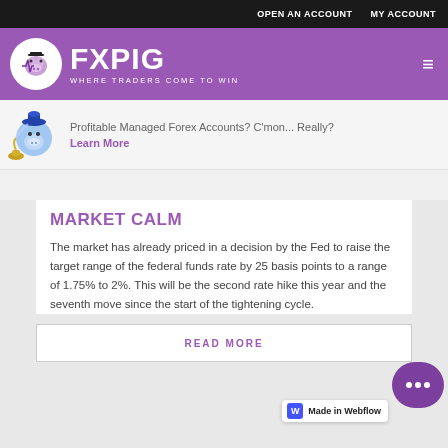OPEN AN ACCOUNT   MY ACCOUNT
[Figure (logo): FXPIG logo — white circle with pig mascot on purple background, text FXPIG WHERE TRADERS COME TO WIN]
Profitable Managed Forex Accounts? C'mon... Really? Learn More
MARKET CALM
The market has already priced in a decision by the Fed to raise the target range of the federal funds rate by 25 basis points to a range of 1.75% to 2%. This will be the second rate hike this year and the seventh move since the start of the tightening cycle.
READ MORE